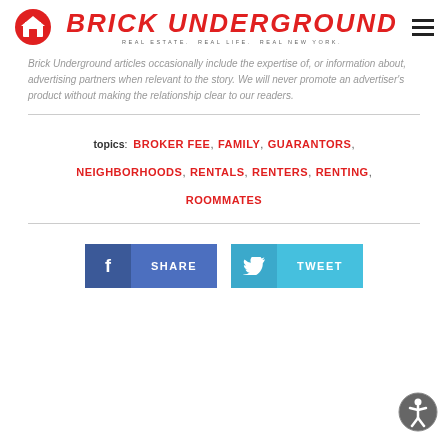Brick Underground — Real Estate. Real Life. Real New York.
Brick Underground articles occasionally include the expertise of, or information about, advertising partners when relevant to the story. We will never promote an advertiser's product without making the relationship clear to our readers.
topics: BROKER FEE, FAMILY, GUARANTORS, NEIGHBORHOODS, RENTALS, RENTERS, RENTING, ROOMMATES
[Figure (other): Facebook Share button and Twitter Tweet button side by side]
[Figure (other): Accessibility icon button in bottom right corner]